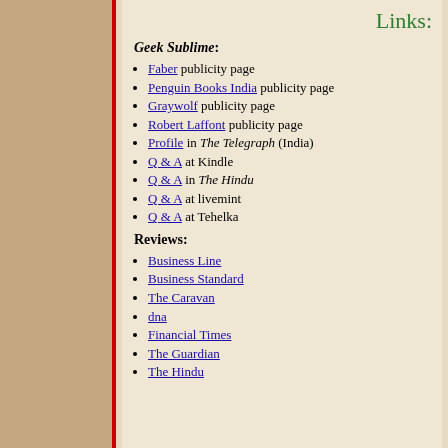Links:
Geek Sublime:
Faber publicity page
Penguin Books India publicity page
Graywolf publicity page
Robert Laffont publicity page
Profile in The Telegraph (India)
Q & A at Kindle
Q & A in The Hindu
Q & A at livemint
Q & A at Tehelka
Reviews:
Business Line
Business Standard
The Caravan
dna
Financial Times
The Guardian
The Hindu